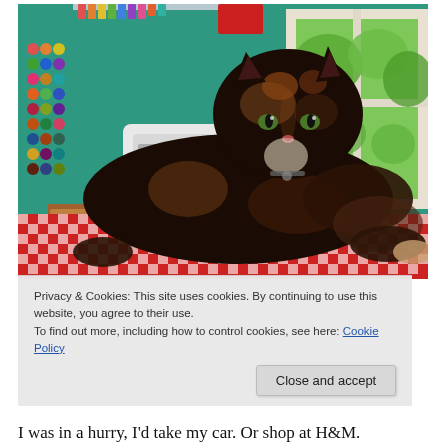[Figure (photo): A tortoiseshell cat lying on a red and white checkered tablecloth in a sewing room, with colorful thread spools on the wall, a sewing machine, shelves with supplies, and a window with green foliage visible outside.]
Privacy & Cookies: This site uses cookies. By continuing to use this website, you agree to their use.
To find out more, including how to control cookies, see here: Cookie Policy
Close and accept
I was in a hurry, I'd take my car. Or shop at H&M.